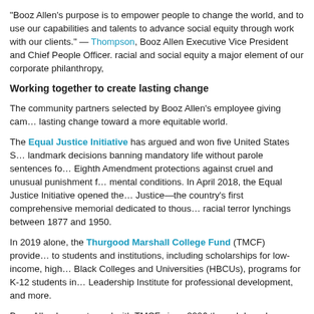“Booz Allen’s purpose is to empower people to change the world, and to use our capabilities and talents to advance social equity through work with our clients.” — Thompson, Booz Allen Executive Vice President and Chief People Officer. racial and social equity a major element of our corporate philanthropy,
Working together to create lasting change
The community partners selected by Booz Allen’s employee giving campaign help drive lasting change toward a more equitable world.
The Equal Justice Initiative has argued and won five United States Supreme Court landmark decisions banning mandatory life without parole sentences for children and Eighth Amendment protections against cruel and unusual punishment for people with mental conditions. In April 2018, the Equal Justice Initiative opened the Memorial for Peace and Justice—the country’s first comprehensive memorial dedicated to thousands of victims of racial terror lynchings between 1877 and 1950.
In 2019 alone, the Thurgood Marshall College Fund (TMCF) provided support to students and institutions, including scholarships for low-income, high-achieving Historically Black Colleges and Universities (HBCUs), programs for K-12 students in STEM, a Career Leadership Institute for professional development, and more.
Booz Allen has partnered with TMCF since 2006 through board membership and funding. “Their commitment to education through college readiness and career preparation at their member schools positions our families and communities to adopt...